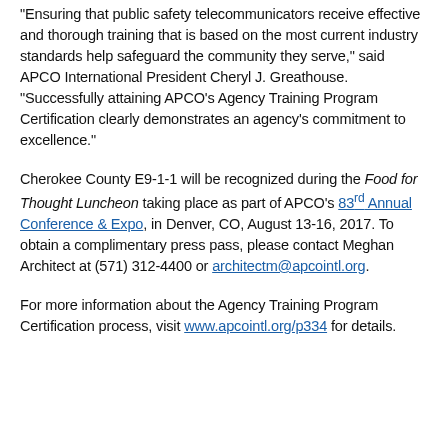“Ensuring that public safety telecommunicators receive effective and thorough training that is based on the most current industry standards help safeguard the community they serve,” said APCO International President Cheryl J. Greathouse. “Successfully attaining APCO’s Agency Training Program Certification clearly demonstrates an agency’s commitment to excellence.”
Cherokee County E9-1-1 will be recognized during the Food for Thought Luncheon taking place as part of APCO’s 83rd Annual Conference & Expo, in Denver, CO, August 13-16, 2017. To obtain a complimentary press pass, please contact Meghan Architect at (571) 312-4400 or architectm@apcointl.org.
For more information about the Agency Training Program Certification process, visit www.apcointl.org/p334 for details.